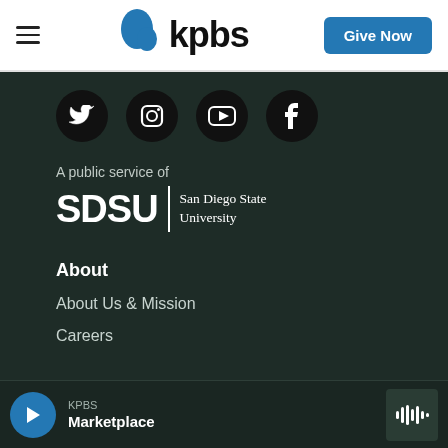KPBS | Give Now
[Figure (logo): KPBS logo with blue teardrop icon and bold 'kpbs' wordmark]
[Figure (infographic): Social media icons: Twitter, Instagram, YouTube, Facebook - white icons on black circles]
A public service of
[Figure (logo): SDSU | San Diego State University logo with bold SDSU wordmark and vertical divider]
About
About Us & Mission
Careers
KPBS Marketplace - audio player bar